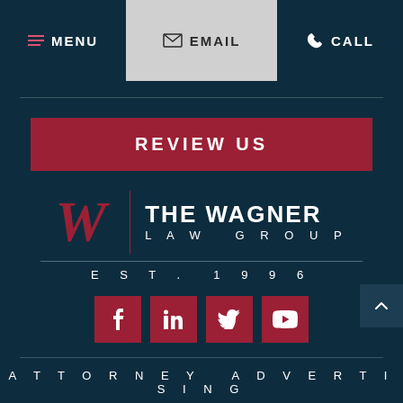MENU | EMAIL | CALL
[Figure (logo): The Wagner Law Group logo with stylized W, vertical divider, firm name and EST. 1996]
REVIEW US
[Figure (infographic): Social media icons: Facebook, LinkedIn, Twitter, YouTube on crimson square backgrounds]
ATTORNEY ADVERTISING